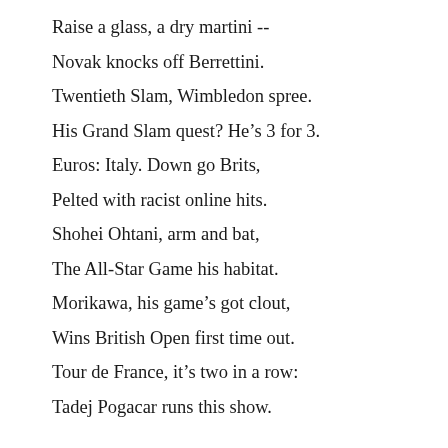Raise a glass, a dry martini --
Novak knocks off Berrettini.
Twentieth Slam, Wimbledon spree.
His Grand Slam quest? He’s 3 for 3.
Euros: Italy. Down go Brits,
Pelted with racist online hits.
Shohei Ohtani, arm and bat,
The All-Star Game his habitat.
Morikawa, his game’s got clout,
Wins British Open first time out.
Tour de France, it’s two in a row:
Tadej Pogacar runs this show.